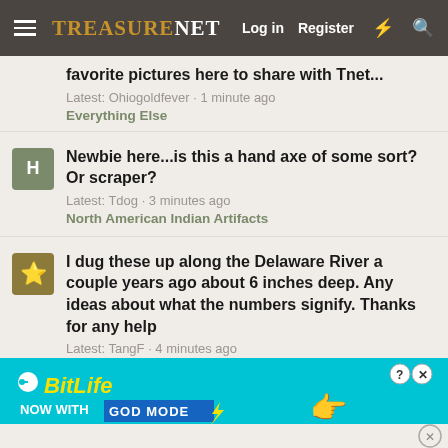TreasureNet  Log in  Register
favorite pictures here to share with Tnet...
Latest: Ohiogoldfever · 1 minute ago
Everything Else
Newbie here...is this a hand axe of some sort? Or scraper?
Latest: Tdog · 3 minutes ago
North American Indian Artifacts
I dug these up along the Delaware River a couple years ago about 6 inches deep. Any ideas about what the numbers signify. Thanks for any help
Latest: TangF · 4 minutes ago
Today's Finds!!
[Figure (screenshot): BitLife advertisement banner - NOW WITH GOD MODE]